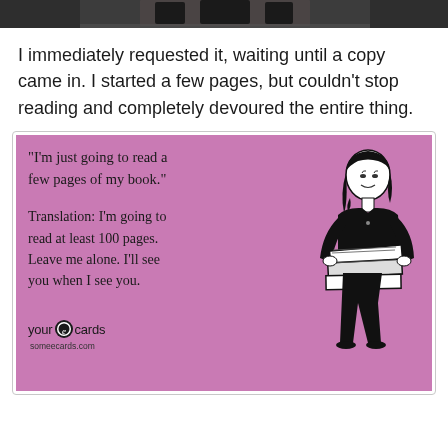[Figure (photo): Partial top of a photo, cropped, showing dark figures at the top of the page]
I immediately requested it, waiting until a copy came in. I started a few pages, but couldn't stop reading and completely devoured the entire thing.
[Figure (illustration): A someecards.com ecard with pink/mauve background. Left side text reads: "I'm just going to read a few pages of my book." Translation: I'm going to read at least 100 pages. Leave me alone. I'll see you when I see you. Bottom left has 'your e cards someecards.com' logo. Right side shows a black and white illustration of a woman holding books.]